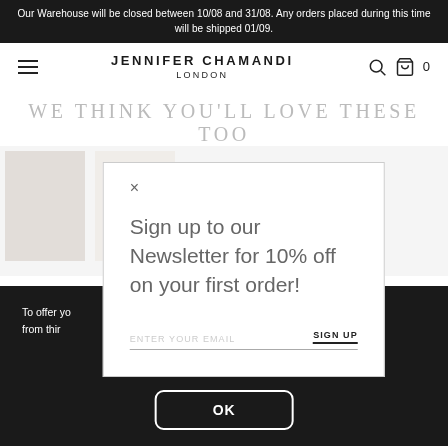Our Warehouse will be closed between 10/08 and 31/08. Any orders placed during this time will be shipped 01/09.
JENNIFER CHAMANDI
LONDON
WE THINK YOU'LL LOVE THESE TOO
[Figure (screenshot): Newsletter sign-up modal overlay on a fashion e-commerce page. Modal contains a close (×) button, headline 'Sign up to our Newsletter for 10% off on your first order!', an email input field labeled 'ENTER YOUR EMAIL', and a 'SIGN UP' button. Below the modal is a dark cookie consent bar with 'OK' button.]
Sign up to our Newsletter for 10% off on your first order!
ENTER YOUR EMAIL
SIGN UP
To offer yo… from thir…
OK